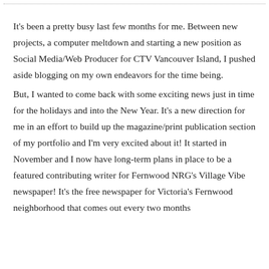It's been a pretty busy last few months for me. Between new projects, a computer meltdown and starting a new position as Social Media/Web Producer for CTV Vancouver Island, I pushed aside blogging on my own endeavors for the time being.
But, I wanted to come back with some exciting news just in time for the holidays and into the New Year. It's a new direction for me in an effort to build up the magazine/print publication section of my portfolio and I'm very excited about it! It started in November and I now have long-term plans in place to be a featured contributing writer for Fernwood NRG's Village Vibe newspaper! It's the free newspaper for Victoria's Fernwood neighborhood that comes out every two months...